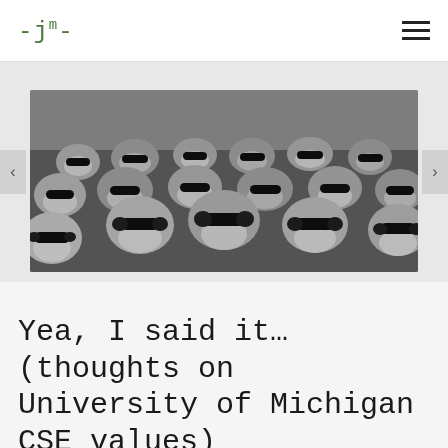-jm-
[Figure (photo): Black and white photograph of a large flock of sheep all wearing sunglasses, facing the camera]
Yea, I said it… (thoughts on University of Michigan CSE values)